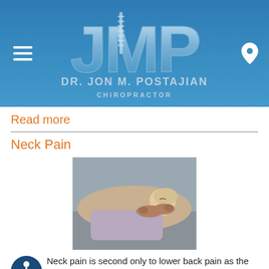[Figure (logo): JMP Dr. Jon M. Postajian Chiropractor logo with blue header, hamburger menu icon on left, location pin icon on right]
Read more
Neck Pain
[Figure (photo): Patient lying on table receiving chiropractic neck adjustment from practitioner's hands]
Neck pain is second only to lower back pain as the reason for most people to see a doctor. Unfortunately, the types of with